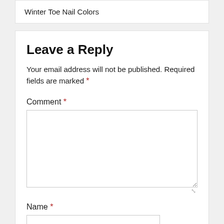Winter Toe Nail Colors
Leave a Reply
Your email address will not be published. Required fields are marked *
Comment *
Name *